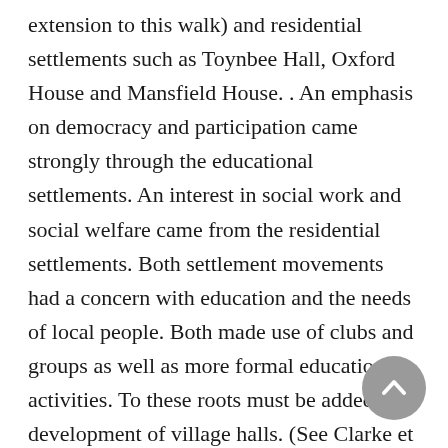extension to this walk) and residential settlements such as Toynbee Hall, Oxford House and Mansfield House. . An emphasis on democracy and participation came strongly through the educational settlements. An interest in social work and social welfare came from the residential settlements. Both settlement movements had a concern with education and the needs of local people. Both made use of clubs and groups as well as more formal educational activities. To these roots must be added the development of village halls. (See Clarke et al 1990).